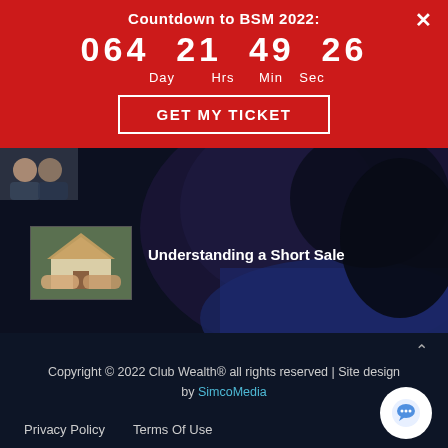Countdown to BSM 2022:
064  21  49  26
Day  Hrs  Min  Sec
GET MY TICKET
[Figure (photo): Dark background photo with a thumbnail image of a handshake in front of a house (real estate related), and article title 'Understanding a Short Sale']
Understanding a Short Sale
Copyright © 2022 Club Wealth® all rights reserved | Site design by SimcoMedia
Privacy Policy    Terms Of Use